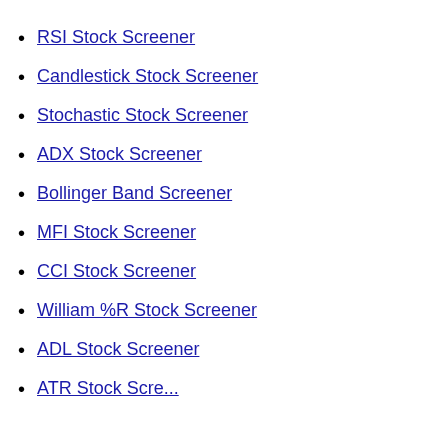RSI Stock Screener
Candlestick Stock Screener
Stochastic Stock Screener
ADX Stock Screener
Bollinger Band Screener
MFI Stock Screener
CCI Stock Screener
William %R Stock Screener
ADL Stock Screener
ATR Stock Screener (partial)